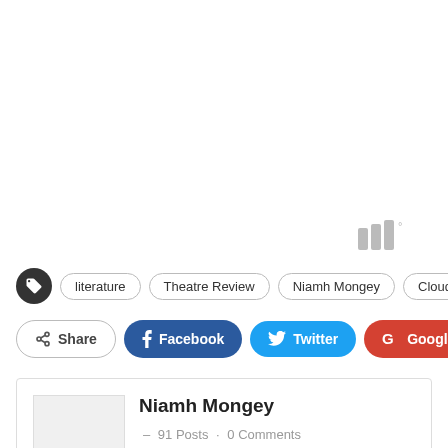[Figure (other): TrendMD widget indicator with bars and degree symbol, positioned upper right area]
literature · Theatre Review · Niamh Mongey · Cloud Study
Share Facebook Twitter Google+ +
Niamh Mongey · 91 Posts · 0 Comments
Niamh is a very serious investigative